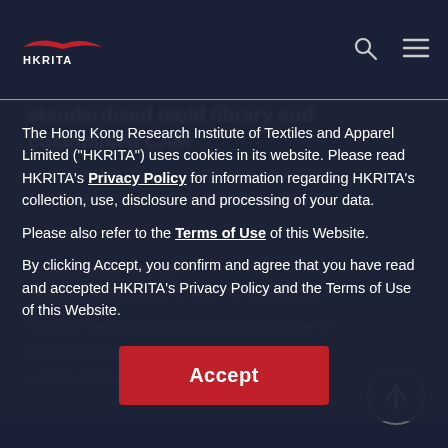HKRITA navigation bar with logo, search icon, and menu icon
standardised mold library and customised CAM
The Hong Kong Research Institute of Textiles and Apparel Limited ("HKRITA") uses cookies in its website. Please read HKRITA's Privacy Policy for information regarding HKRITA's collection, use, disclosure and processing of your data.
Please also refer to the Terms of Use of this Website.
By clicking Accept, you confirm and agree that you have read and accepted HKRITA's Privacy Policy and the Terms of Use of this Website.